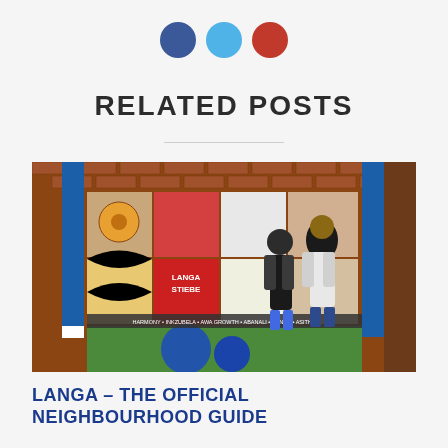[Figure (logo): Three colored dots: dark blue, light blue, and red arranged horizontally]
RELATED POSTS
[Figure (photo): Two people standing in front of a colorful mosaic mural wall with African art tiles, brick walls, and blue vertical stripes. The mural includes text 'LANGA STIEBE' and other words.]
LANGA – THE OFFICIAL NEIGHBOURHOOD GUIDE